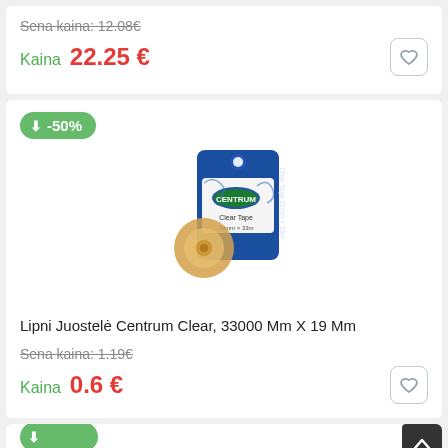Sena kaina: 12.08€
Kaina  22.25 €
[Figure (photo): Centrum Clear Tape product, 33000mm x 19mm, blue and white packaging on a roll]
-50%
Lipni Juostelė Centrum Clear, 33000 Mm X 19 Mm
Sena kaina: 1.19€
Kaina  0.6 €